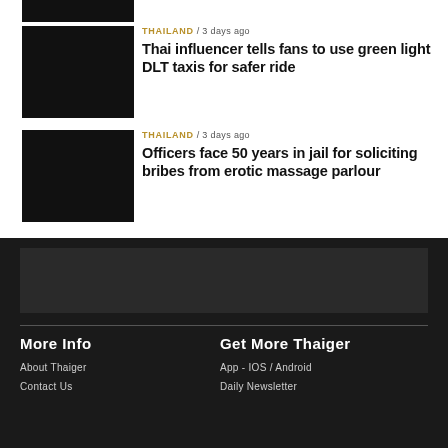[Figure (photo): Partial top image cropped at top of page]
[Figure (photo): Thumbnail image for article about Thai influencer and DLT taxis]
THAILAND / 3 days ago
Thai influencer tells fans to use green light DLT taxis for safer ride
[Figure (photo): Thumbnail image for article about officers facing jail for soliciting bribes]
THAILAND / 3 days ago
Officers face 50 years in jail for soliciting bribes from erotic massage parlour
[Figure (photo): Footer logo/branding area on dark background]
More Info
About Thaiger
Contact Us
Get More Thaiger
App - IOS / Android
Daily Newsletter